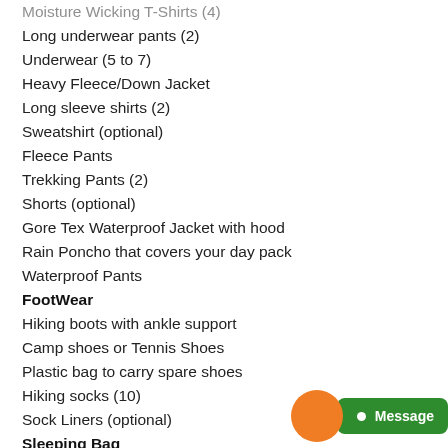Moisture Wicking T-Shirts (4)
Long underwear pants (2)
Underwear (5 to 7)
Heavy Fleece/Down Jacket
Long sleeve shirts (2)
Sweatshirt (optional)
Fleece Pants
Trekking Pants (2)
Shorts (optional)
Gore Tex Waterproof Jacket with hood
Rain Poncho that covers your day pack
Waterproof Pants
FootWear
Hiking boots with ankle support
Camp shoes or Tennis Shoes
Plastic bag to carry spare shoes
Hiking socks (10)
Sock Liners (optional)
Sleeping Bag
Sleeping bag rated to 20% below conventional